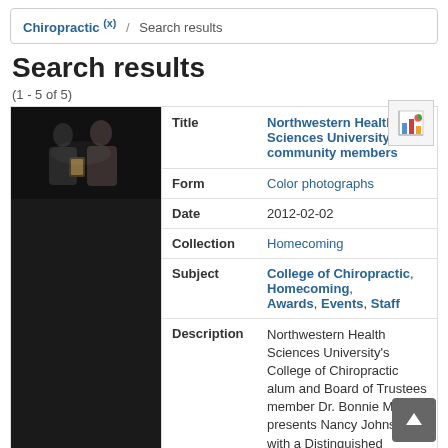Chiropractic (x) / Search results
Search results
(1 - 5 of 5)
[Figure (photo): Thumbnail photo of two people at an award ceremony on a dark background]
| Field | Value |
| --- | --- |
| Title | Northwestern Health Sciences University community members |
| Form | Color photographs |
| Date | 2012-02-02 |
| Collection | Homecoming |
| Subject | College of Chiropractic, Homecoming, Awards, Events, Staff |
| Description | Northwestern Health Sciences University's College of Chiropractic alum and Board of Trustees member Dr. Bonnie Myhers presents Nancy Johnson with a Distinguished Service Award at Homecoming, 2012-02-02. |
| Copyright | copyrighted |